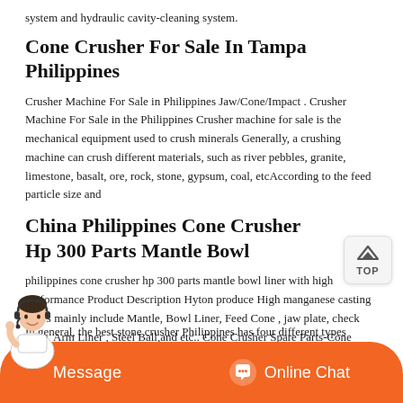system and hydraulic cavity-cleaning system.
Cone Crusher For Sale In Tampa Philippines
Crusher Machine For Sale in Philippines Jaw/Cone/Impact . Crusher Machine For Sale in the Philippines Crusher machine for sale is the mechanical equipment used to crush minerals Generally, a crushing machine can crush different materials, such as river pebbles, granite, limestone, basalt, ore, rock, stone, gypsum, coal, etcAccording to the feed particle size and
China Philippines Cone Crusher Hp 300 Parts Mantle Bowl
philippines cone crusher hp 300 parts mantle bowl liner with high performance Product Description Hyton produce High manganese casting liners mainly include Mantle, Bowl Liner, Feed Cone , jaw plate, check plate, Arm Liner , Steel Ball,and etc.. Cone Crusher Spare Parts-Cone Concave Advantage and Features.
In general, the best stone crusher Philippines has four different types